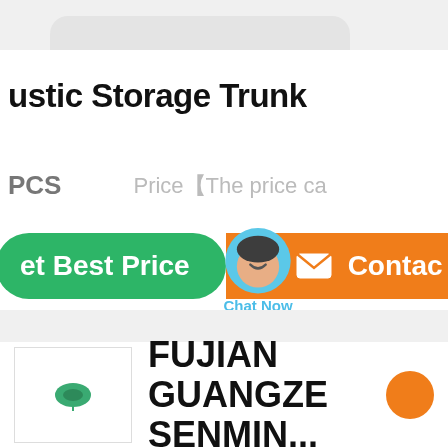ustic Storage Trunk
PCS   Price【The price ca
[Figure (screenshot): Green 'Get Best Price' button and orange 'Contact' button with chat bubble overlay showing 'Chat Now']
[Figure (logo): Company logo box with small green leaf icon]
FUJIAN GUANGZE SENMIN...